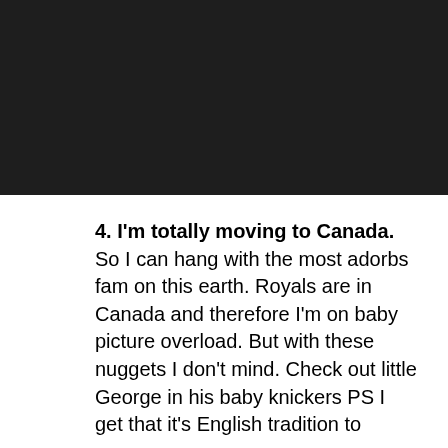[Figure (screenshot): Dark/black video player thumbnail with a YouTube play button icon in the bottom-right corner]
4. I'm totally moving to Canada. So I can hang with the most adorbs fam on this earth. Royals are in Canada and therefore I'm on baby picture overload. But with these nuggets I don't mind. Check out little George in his baby knickers PS I get that it's English tradition to